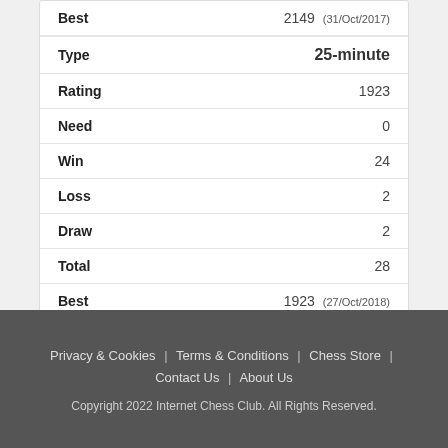| Field | Value |
| --- | --- |
| Best | 2149 (31/Oct/2017) |
| Type | 25-minute |
| Rating | 1923 |
| Need | 0 |
| Win | 24 |
| Loss | 2 |
| Draw | 2 |
| Total | 28 |
| Best | 1923 (27/Oct/2018) |
Privacy & Cookies | Terms & Conditions | Chess Store | Contact Us | About Us
Copyright 2022 Internet Chess Club. All Rights Reserved.